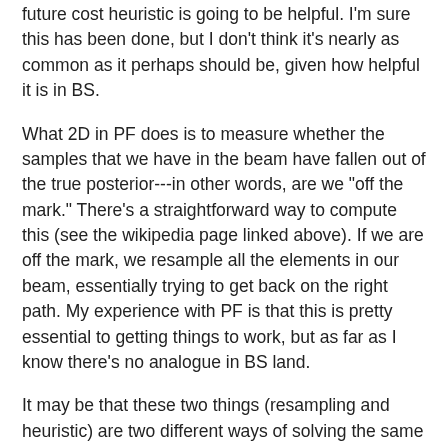future cost heuristic is going to be helpful. I'm sure this has been done, but I don't think it's nearly as common as it perhaps should be, given how helpful it is in BS.
What 2D in PF does is to measure whether the samples that we have in the beam have fallen out of the true posterior---in other words, are we "off the mark." There's a straightforward way to compute this (see the wikipedia page linked above). If we are off the mark, we resample all the elements in our beam, essentially trying to get back on the right path. My experience with PF is that this is pretty essential to getting things to work, but as far as I know there's no analogue in BS land.
It may be that these two things (resampling and heuristic) are two different ways of solving the same problem and that doing both is not so helpful. But I tend to doubt it.
One other thing that I've never seen done in PF is to maintain multiple beams. Admittedly this makes the resampling step harder (maybe...I haven't worked through it), but it may be helpful. One thing, for instance, that we found in the PF is that it was common for the PF to all...